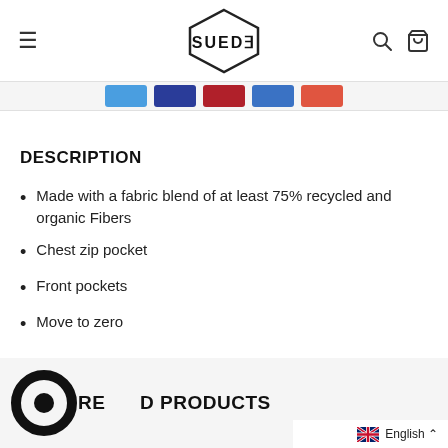SUEDE (logo with hamburger menu, search, and cart icons)
[Figure (illustration): Color swatches bar showing 5 color options: light blue, dark blue, red/maroon, medium blue, coral/orange-red]
DESCRIPTION
Made with a fabric blend of at least 75% recycled and organic Fibers
Chest zip pocket
Front pockets
Move to zero
RELATED PRODUCTS
English